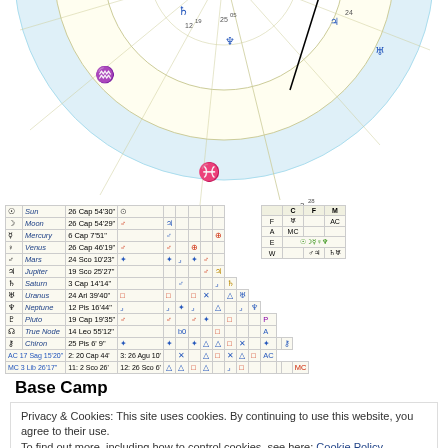[Figure (other): Astrological birth chart wheel showing zodiac signs, planetary positions, house cusps with IC marked at 3°28, planets including Sun, Moon, Mercury, Saturn, Uranus, Neptune, Jupiter visible with degree markings]
[Figure (table-as-image): Astrological planet positions table listing Sun 26 Cap 54'30", Moon 26 Cap 54'29", Mercury 6 Cap 7'51", Venus 26 Cap 46'19", Mars 24 Sco 10'23", Jupiter 19 Sco 25'27", Saturn 3 Cap 14'14", Uranus 24 Ari 39'40", Neptune 12 Pis 16'44", Pluto 19 Cap 19'35", True Node 14 Leo 55'12", Chiron 25 Pis 6'9", AC 17 Sag 15'20" and MC 3 Lib 26'17" with aspect grid columns C, F, M]
Base Camp
Privacy & Cookies: This site uses cookies. By continuing to use this website, you agree to their use.
To find out more, including how to control cookies, see here: Cookie Policy
sign of concrete, material gains. In 2019, Capricorn seeks...